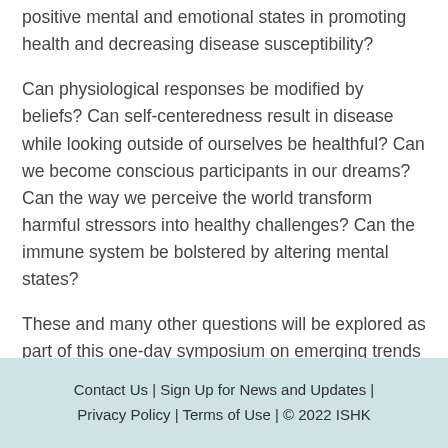positive mental and emotional states in promoting health and decreasing disease susceptibility?
Can physiological responses be modified by beliefs? Can self-centeredness result in disease while looking outside of ourselves be healthful? Can we become conscious participants in our dreams? Can the way we perceive the world transform harmful stressors into healthy challenges? Can the immune system be bolstered by altering mental states?
These and many other questions will be explored as part of this one-day symposium on emerging trends in behavioral medicine.
Contact Us | Sign Up for News and Updates | Privacy Policy | Terms of Use | © 2022 ISHK